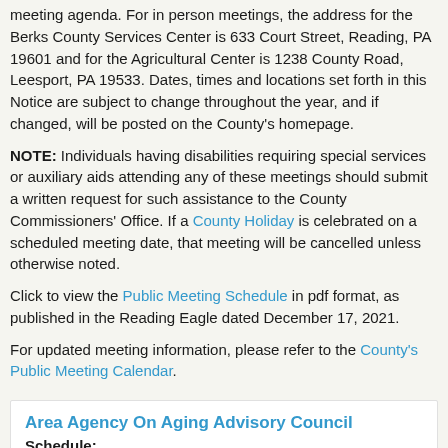meeting agenda. For in person meetings, the address for the Berks County Services Center is 633 Court Street, Reading, PA 19601 and for the Agricultural Center is 1238 County Road, Leesport, PA 19533. Dates, times and locations set forth in this Notice are subject to change throughout the year, and if changed, will be posted on the County's homepage.
NOTE: Individuals having disabilities requiring special services or auxiliary aids attending any of these meetings should submit a written request for such assistance to the County Commissioners' Office. If a County Holiday is celebrated on a scheduled meeting date, that meeting will be cancelled unless otherwise noted.
Click to view the Public Meeting Schedule in pdf format, as published in the Reading Eagle dated December 17, 2021.
For updated meeting information, please refer to the County's Public Meeting Calendar.
Area Agency On Aging Advisory Council
Schedule: January 13, March 10, June 9, September 15 (Annual Planning Meeting) and November 10, 2021.